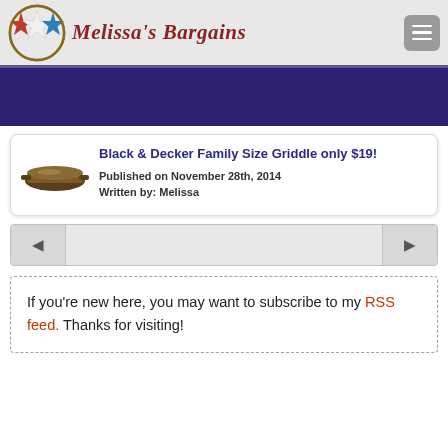Melissa's Bargains
Black & Decker Family Size Griddle only $19!
Published on November 28th, 2014
Written by: Melissa
If you're new here, you may want to subscribe to my RSS feed. Thanks for visiting!